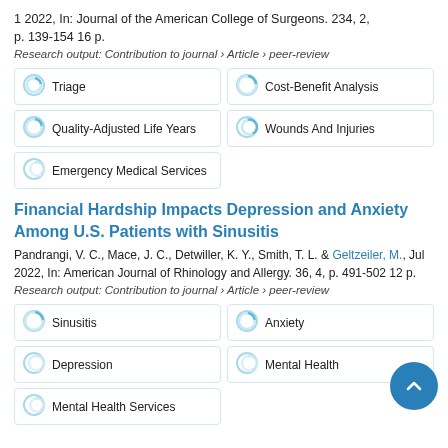1 2022, In: Journal of the American College of Surgeons. 234, 2, p. 139-154 16 p.
Research output: Contribution to journal › Article › peer-review
Triage
Cost-Benefit Analysis
Quality-Adjusted Life Years
Wounds And Injuries
Emergency Medical Services
Financial Hardship Impacts Depression and Anxiety Among U.S. Patients with Sinusitis
Pandrangi, V. C., Mace, J. C., Detwiller, K. Y., Smith, T. L. & Geltzeiler, M., Jul 2022, In: American Journal of Rhinology and Allergy. 36, 4, p. 491-502 12 p.
Research output: Contribution to journal › Article › peer-review
Sinusitis
Anxiety
Depression
Mental Health
Mental Health Services